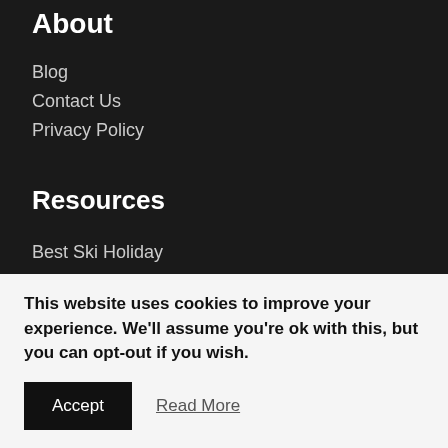About
Blog
Contact Us
Privacy Policy
Resources
Best Ski Holiday
Manchester City Football Tickets
Keep in Touch
This website uses cookies to improve your experience. We'll assume you're ok with this, but you can opt-out if you wish.
Accept
Read More